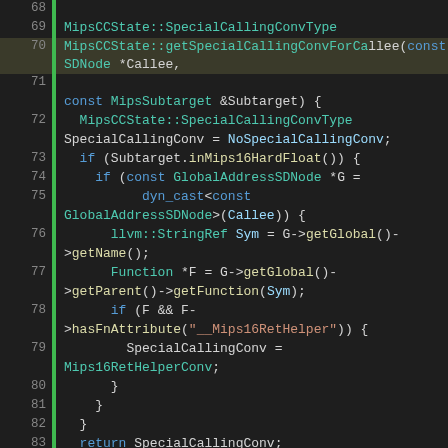[Figure (screenshot): Source code viewer showing C++ code for MipsCCState::getSpecialCallingConvForCallee and MipsCCState::PreAnalyzeCallResultForF128 functions, lines 68–93, with syntax highlighting on dark background.]